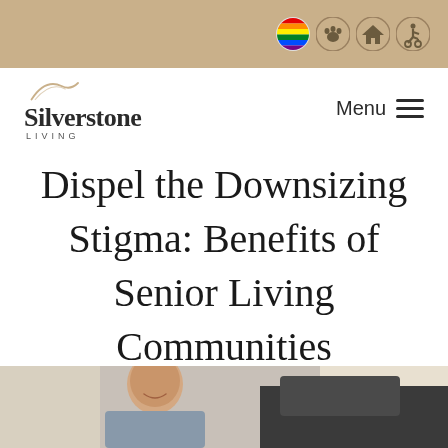Silverstone Living — top banner with diversity/inclusion icons
[Figure (logo): Silverstone Living logo with decorative arch above text and 'LIVING' subtitle]
Menu ≡
Dispel the Downsizing Stigma: Benefits of Senior Living Communities
[Figure (photo): Smiling older man photographed outdoors near a vehicle, cropped at bottom of page]